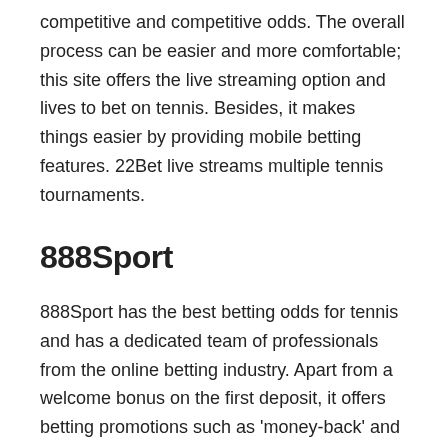competitive and competitive odds. The overall process can be easier and more comfortable; this site offers the live streaming option and lives to bet on tennis. Besides, it makes things easier by providing mobile betting features. 22Bet live streams multiple tennis tournaments.
888Sport
888Sport has the best betting odds for tennis and has a dedicated team of professionals from the online betting industry. Apart from a welcome bonus on the first deposit, it offers betting promotions such as 'money-back' and makes sure that you get an excellent experience. Also, they provide extensive options for withdrawal and deposits, and one can pay quickly.